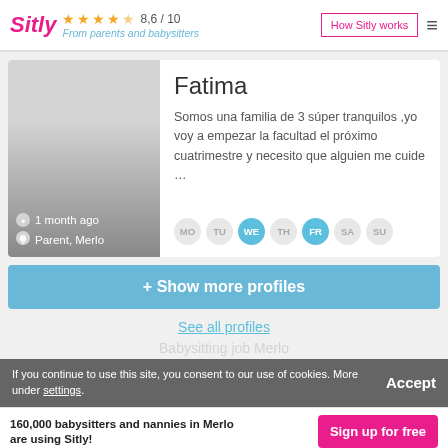Sitly ★★★★½ 8,6 / 10 — From parents and babysitters | How Sitly works
[Figure (photo): Profile photo placeholder: gradient grey image with '1 month ago' and 'Parent, Merlo' overlaid at bottom]
Fatima
Somos una familia de 3 súper tranquilos ,yo voy a empezar la facultad el próximo cuatrimestre y necesito que alguien me cuide …
MO TU WE TH FR SA SU (WE and FR highlighted)
+ Show more profiles
See all profiles
If you continue to use this site, you consent to our use of cookies. More under settings.
Babysitting job Merlo
160,000 babysitters and nannies in Merlo are using Sitly!
Sign up for free